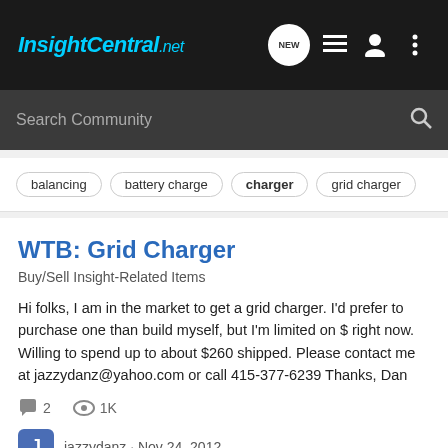InsightCentral.net
Search Community
balancing
battery charge
charger
grid charger
WTB: Grid Charger
Buy/Sell Insight-Related Items
Hi folks, I am in the market to get a grid charger. I'd prefer to purchase one than build myself, but I'm limited on $ right now. Willing to spend up to about $260 shipped. Please contact me at jazzydanz@yahoo.com or call 415-377-6239 Thanks, Dan
2  1K
jazzydanz · Nov 24, 2012
charger
grid charger